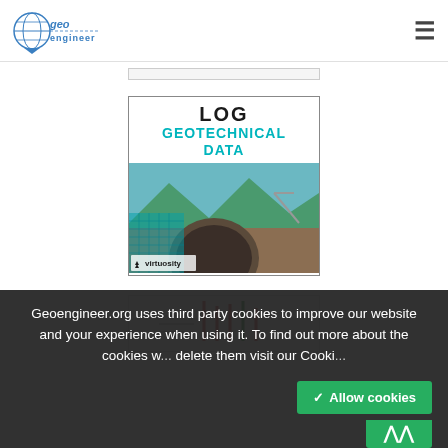[Figure (logo): Geoengineer logo - globe with 'geo engineer' text in blue]
[Figure (other): Hamburger menu icon (three horizontal lines)]
[Figure (other): Advertisement banner: LOG GEOTECHNICAL DATA with construction site tunnel photo, Virtuosity branding]
[Figure (other): Second advertisement showing vertical bar chart lines in red and green]
Geoengineer.org uses third party cookies to improve our website and your experience when using it. To find out more about the cookies w... delete them visit our Cooki...
Allow cookies
^